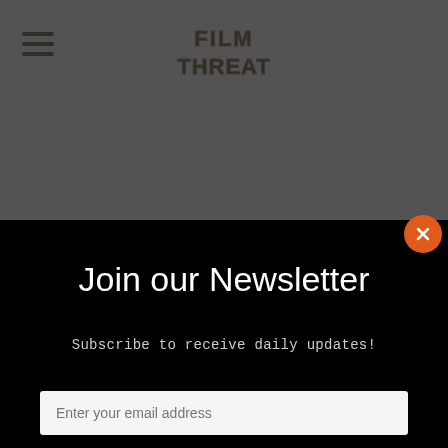[Figure (screenshot): Film Threat website header with hamburger menu icon on left and Film Threat logo in center, on gray background]
[Figure (screenshot): Newsletter signup modal popup with black background, close button (orange circle with X), title 'Join our Newsletter', subtitle 'Subscribe to receive daily updates!', email input field, and gold SIGN UP button]
Join our Newsletter
Subscribe to receive daily updates!
Enter your email address
SIGN UP
REPLY